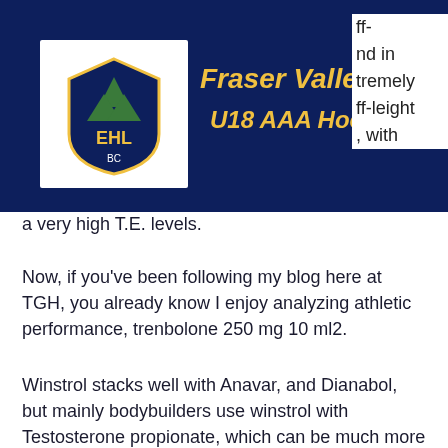Fraser Valley Rush U18 AAA Hockey
ff- nd in tremely ff-leight , with a very high T.E. levels.
Now, if you've been following my blog here at TGH, you already know I enjoy analyzing athletic performance, trenbolone 250 mg 10 ml2.
Winstrol stacks well with Anavar, and Dianabol, but mainly bodybuilders use winstrol with Testosterone propionate, which can be much more potent for bodybuilders as it is not metabolized in the liver, and instead passes through the kidneys, where it stimulates fat burning. This is why bodybuilding can often be seen as a "fat burning" sport as opposed to a "strength